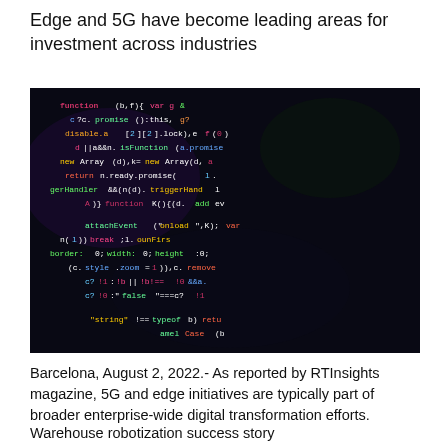Edge and 5G have become leading areas for investment across industries
[Figure (photo): A dark screen displaying colorful programming code with JavaScript syntax highlighted in green, white, yellow, red, and blue on a black background.]
Barcelona, August 2, 2022.- As reported by RTInsights magazine, 5G and edge initiatives are typically part of broader enterprise-wide digital transformation efforts.
Warehouse robotization success story